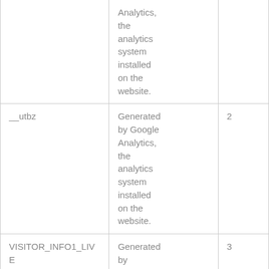| Cookie name | Description | Duration (years) |
| --- | --- | --- |
|  | Analytics, the analytics system installed on the website. |  |
| __utbz | Generated by Google Analytics, the analytics system installed on the website. | 2 |
| VISITOR_INFO1_LIVE | Generated by | 3 |